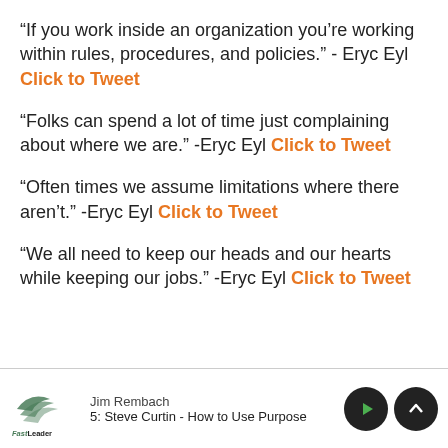“If you work inside an organization you’re working within rules, procedures, and policies.” - Eryc Eyl Click to Tweet
“Folks can spend a lot of time just complaining about where we are.” -Eryc Eyl Click to Tweet
“Often times we assume limitations where there aren’t.” -Eryc Eyl Click to Tweet
“We all need to keep our heads and our hearts while keeping our jobs.” -Eryc Eyl Click to Tweet
Jim Rembach | FastLeader PODCAST | 5: Steve Curtin - How to Use Purpose